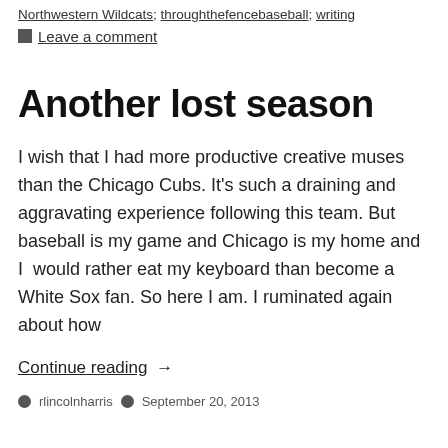Northwestern Wildcats; throughthefencebaseball; writing
Leave a comment
Another lost season
I wish that I had more productive creative muses than the Chicago Cubs. It's such a draining and aggravating experience following this team. But baseball is my game and Chicago is my home and I  would rather eat my keyboard than become a White Sox fan. So here I am. I ruminated again about how
Continue reading  →
rlincolnharris   September 20, 2013